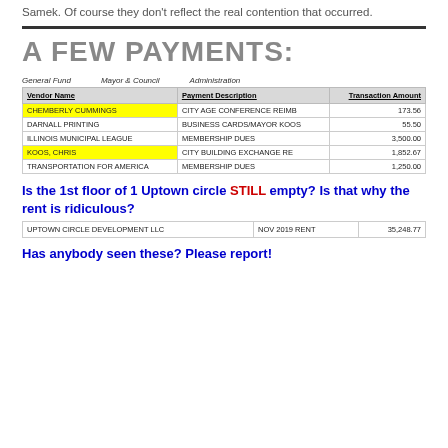Samek. Of course they don't reflect the real contention that occurred.
A FEW PAYMENTS:
| Vendor Name | Payment Description | Transaction Amount |
| --- | --- | --- |
| CHEMBERLY CUMMINGS | CITY AGE CONFERENCE REIMB | 173.56 |
| DARNALL PRINTING | BUSINESS CARDS/MAYOR KOOS | 55.50 |
| ILLINOIS MUNICIPAL LEAGUE | MEMBERSHIP DUES | 3,500.00 |
| KOOS, CHRIS | CITY BUILDING EXCHANGE RE | 1,852.67 |
| TRANSPORTATION FOR AMERICA | MEMBERSHIP DUES | 1,250.00 |
Is the 1st floor of 1 Uptown circle STILL empty? Is that why the rent is ridiculous?
| UPTOWN CIRCLE DEVELOPMENT LLC | NOV 2019 RENT | 35,248.77 |
Has anybody seen these? Please report!